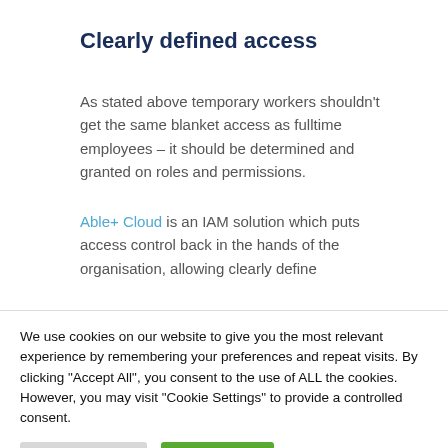Clearly defined access
As stated above temporary workers shouldn't get the same blanket access as fulltime employees – it should be determined and granted on roles and permissions.
Able+ Cloud is an IAM solution which puts access control back in the hands of the organisation, allowing clearly define
We use cookies on our website to give you the most relevant experience by remembering your preferences and repeat visits. By clicking "Accept All", you consent to the use of ALL the cookies. However, you may visit "Cookie Settings" to provide a controlled consent.